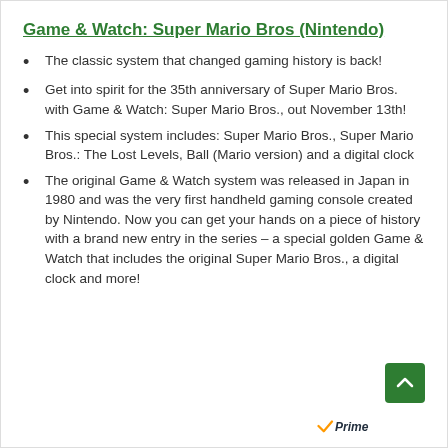Game & Watch: Super Mario Bros (Nintendo)
The classic system that changed gaming history is back!
Get into spirit for the 35th anniversary of Super Mario Bros. with Game & Watch: Super Mario Bros., out November 13th!
This special system includes: Super Mario Bros., Super Mario Bros.: The Lost Levels, Ball (Mario version) and a digital clock
The original Game & Watch system was released in Japan in 1980 and was the very first handheld gaming console created by Nintendo. Now you can get your hands on a piece of history with a brand new entry in the series – a special golden Game & Watch that includes the original Super Mario Bros., a digital clock and more!
[Figure (logo): Amazon Prime logo with checkmark]